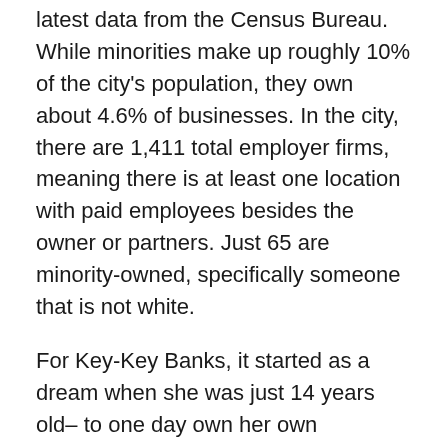latest data from the Census Bureau. While minorities make up roughly 10% of the city's population, they own about 4.6% of businesses. In the city, there are 1,411 total employer firms, meaning there is at least one location with paid employees besides the owner or partners. Just 65 are minority-owned, specifically someone that is not white.
For Key-Key Banks, it started as a dream when she was just 14 years old– to one day own her own business. The opportunity presented itself plenty of times, just never the right time.
“Didn’t have enough money either,” said Banks.
While her dream had to wait, Banks went to work as the assistant manager at Sports Clips.